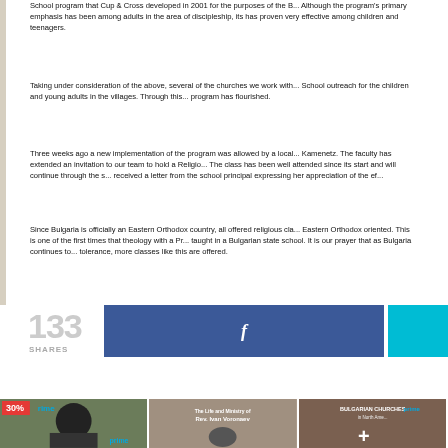School program that Cup & Cross developed in 2001 for the purposes of the B... Although the program's primary emphasis has been among adults in the area of discipleship, its has proven very effective among children and teenagers.
Taking under consideration of the above, several of the churches we work with... School outreach for the children and young adults in the villages. Through this... program has flourished.
Three weeks ago a new implementation of the program was allowed by a local... Kamenetz. The faculty has extended an invitation to our team to hold a Religio... The class has been well attended since its start and will continue through the s... received a letter from the school principal expressing her appreciation of the ef...
Since Bulgaria is officially an Eastern Orthodox country, all offered religious cla... Eastern Orthodox oriented. This is one of the first times that theology with a Pr... taught in a Bulgarian state school. It is our prayer that as Bulgaria continues to... tolerance, more classes like this are offered.
[Figure (screenshot): Social share button row showing 133 shares count, a Facebook share button in dark blue with 'f' icon, and a cyan button on the right.]
[Figure (infographic): Black banner reading 'Check out our latest publications on Amazon.com n...' followed by three book cover thumbnails: one with a 30% badge and a person silhouette, one with 'The Life and Ministry of Rev. Ivan Voronaev' text, and one labeled 'Bulgarian Churches' with a prime badge and plus sign.]